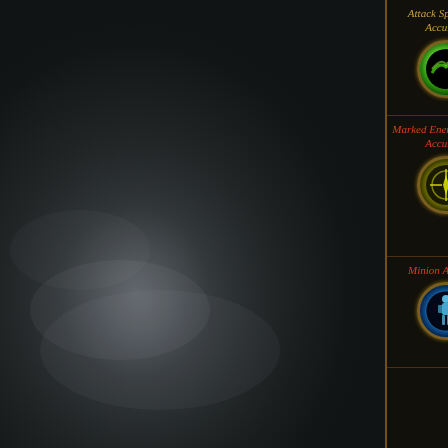[Figure (screenshot): Dark fantasy game UI background with smoky texture on the left]
| Skill Name | Icon | Description |
| --- | --- | --- |
| Attack Speed and Accuracy | [green orb icon] | 6% increased Attack Speed +25 to Accuracy Rating |
| Marked Enemy Reduced Accuracy | [yellow star icon] | Marked Enemy has 10% reduced Accuracy Rating |
| Minion Accuracy | [blue figure icon] | 20% increased Minion Accuracy Rating |
| (unnamed) |  | Minions deal 10% increased Damage 10% increased |
| Minion Damage |  | Minion |